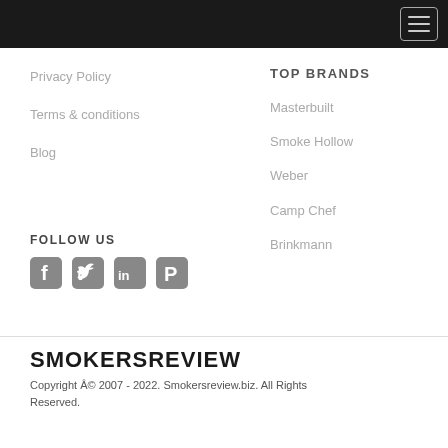Privacy Policy
Terms & conditions
Blog
TOP BRANDS
Masterbuilt
Smoke Hollow
Weber
Camp Chef
Brinkmann
FOLLOW US
[Figure (other): Social media icons: Facebook, Twitter, LinkedIn, Pinterest]
SMOKERSREVIEW
Copyright © 2007 - 2022. Smokersreview.biz. All Rights Reserved.